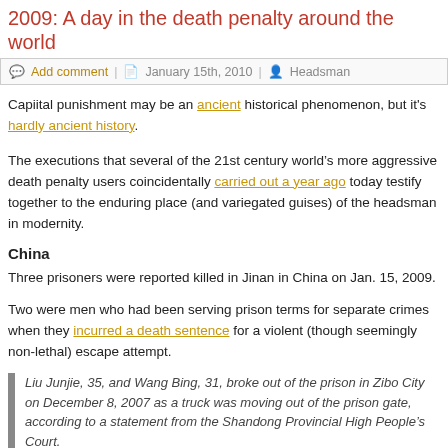2009: A day in the death penalty around the world
Add comment | January 15th, 2010 | Headsman
Capiital punishment may be an ancient historical phenomenon, but it's hardly ancient history.
The executions that several of the 21st century world’s more aggressive death penalty users coincidentally carried out a year ago today testify together to the enduring place (and variegated guises) of the headsman in modernity.
China
Three prisoners were reported killed in Jinan in China on Jan. 15, 2009.
Two were men who had been serving prison terms for separate crimes when they incurred a death sentence for a violent (though seemingly non-lethal) escape attempt.
Liu Junjie, 35, and Wang Bing, 31, broke out of the prison in Zibo City on December 8, 2007 as a truck was moving out of the prison gate, according to a statement from the Shandong Provincial High People’s Court.

They hit a prison worker and two policemen with iron bars and choppers as they forced their way out. They were later caught as they fled along a road.
Former cabbie Bo Lijun shared that fate for a series of thefts, rapes, and murders.